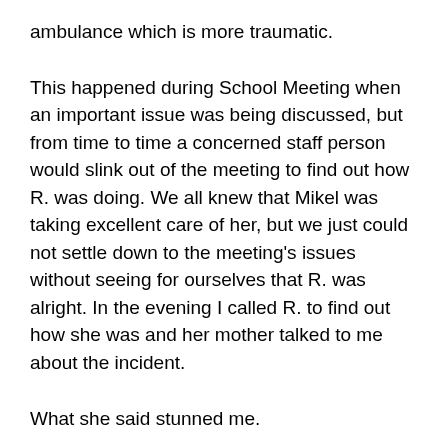ambulance which is more traumatic.
This happened during School Meeting when an important issue was being discussed, but from time to time a concerned staff person would slink out of the meeting to find out how R. was doing. We all knew that Mikel was taking excellent care of her, but we just could not settle down to the meeting's issues without seeing for ourselves that R. was alright. In the evening I called R. to find out how she was and her mother talked to me about the incident.
What she said stunned me.
She said that only now after this happened did she really understand how the staff works at the school. R. told her how concerned and caring we were and how